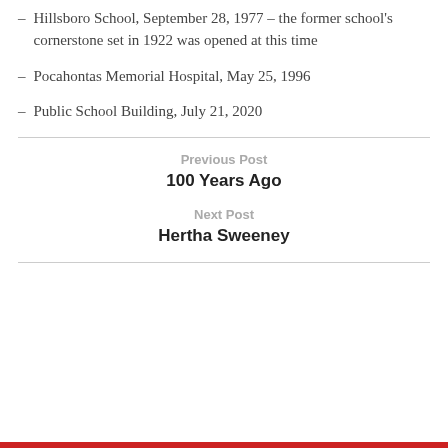– Hillsboro School, September 28, 1977 – the former school's cornerstone set in 1922 was opened at this time
– Pocahontas Memorial Hospital, May 25, 1996
– Public School Building, July 21, 2020
Previous Post
100 Years Ago
Next Post
Hertha Sweeney